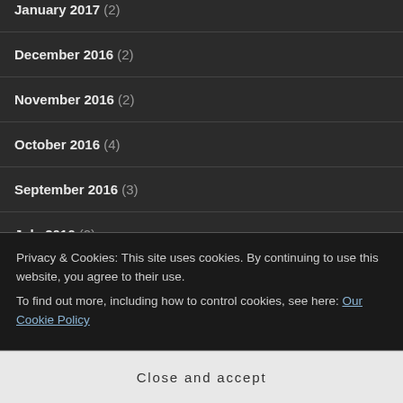January 2017 (2)
December 2016 (2)
November 2016 (2)
October 2016 (4)
September 2016 (3)
July 2016 (2)
June 2016 (2)
May 2016 (1)
Privacy & Cookies: This site uses cookies. By continuing to use this website, you agree to their use.
To find out more, including how to control cookies, see here: Our Cookie Policy
Close and accept
February 2015 (1)